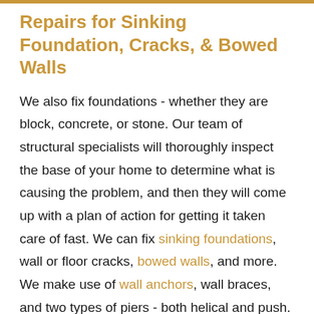Repairs for Sinking Foundation, Cracks, & Bowed Walls
We also fix foundations - whether they are block, concrete, or stone. Our team of structural specialists will thoroughly inspect the base of your home to determine what is causing the problem, and then they will come up with a plan of action for getting it taken care of fast. We can fix sinking foundations, wall or floor cracks, bowed walls, and more. We make use of wall anchors, wall braces, and two types of piers - both helical and push. We won't leave your home until we can guarantee that the foundation is